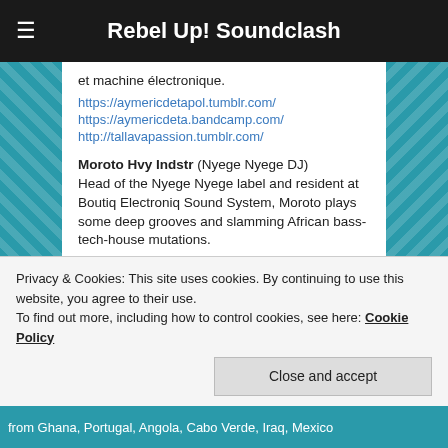Rebel Up! Soundclash
et machine électronique.
https://aymericdetapol.tumblr.com/
https://aymericdeta.bandcamp.com/
http://tallavapassion.tumblr.com/
Moroto Hvy Indstr (Nyege Nyege DJ)
Head of the Nyege Nyege label and resident at Boutiq Electroniq Sound System, Moroto plays some deep grooves and slamming African bass-tech-house mutations.
https://www.mixcloud.com/moroto-hvy-indstr/
Privacy & Cookies: This site uses cookies. By continuing to use this website, you agree to their use.
To find out more, including how to control cookies, see here: Cookie Policy
Close and accept
from Ghana, Portugal, Angola, Cabo Verde, Iraq, Mexico